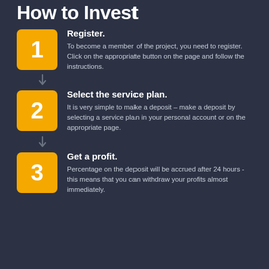How to Invest
Register. To become a member of the project, you need to register. Click on the appropriate button on the page and follow the instructions.
Select the service plan. It is very simple to make a deposit – make a deposit by selecting a service plan in your personal account or on the appropriate page.
Get a profit. Percentage on the deposit will be accrued after 24 hours - this means that you can withdraw your profits almost immediately.